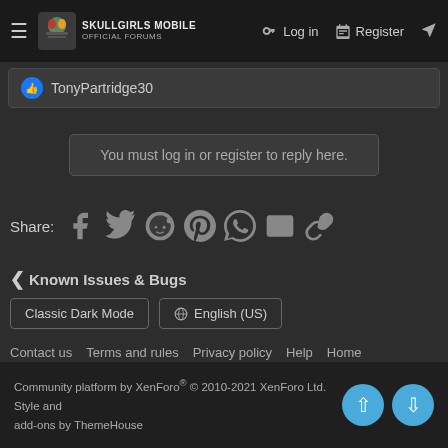Skullgirls Mobile Official Forums — Log in | Register
👍 TonyPartridge30
You must log in or register to reply here.
Share: [facebook] [twitter] [reddit] [pinterest] [whatsapp] [email] [link]
< Known Issues & Bugs
Classic Dark Mode | 🌐 English (US)
Contact us  Terms and rules  Privacy policy  Help  Home
Community platform by XenForo® © 2010-2021 XenForo Ltd. Style and add-ons by ThemeHouse